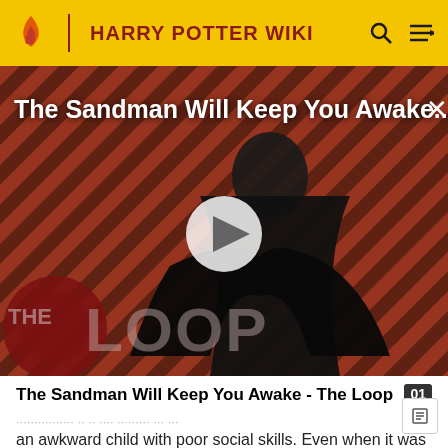HARRY POTTER WIKI
[Figure (screenshot): Video thumbnail for 'The Sandman Will Keep You Awake - The Loop' showing a dark-robed figure against a red and black diagonal stripe background, with a play button in the center and 'THE LOOP' text in the lower left.]
The Sandman Will Keep You Awake - The Loop
an awkward child with poor social skills. Even when it was important to him to make a good impression, he always seemed to have trouble doing so.[7]